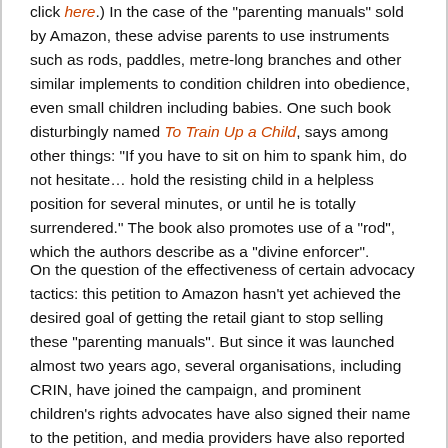click here.) In the case of the "parenting manuals" sold by Amazon, these advise parents to use instruments such as rods, paddles, metre-long branches and other similar implements to condition children into obedience, even small children including babies. One such book disturbingly named To Train Up a Child, says among other things: "If you have to sit on him to spank him, do not hesitate… hold the resisting child in a helpless position for several minutes, or until he is totally surrendered." The book also promotes use of a "rod", which the authors describe as a "divine enforcer".
On the question of the effectiveness of certain advocacy tactics: this petition to Amazon hasn't yet achieved the desired goal of getting the retail giant to stop selling these "parenting manuals". But since it was launched almost two years ago, several organisations, including CRIN, have joined the campaign, and prominent children's rights advocates have also signed their name to the petition, and media providers have also reported on it. All this, despite the fact that Amazon still sells these books, has allowed for the opening of a debate on the corporal punishment of children. Inevitably, with such a high profile retailer as Amazon, whatever response or action the company takes (or fails to take) will be picked up on by journalists, advocates, NGOs, citizens, etc. And this coverage and exposure will continue to raise awareness about the